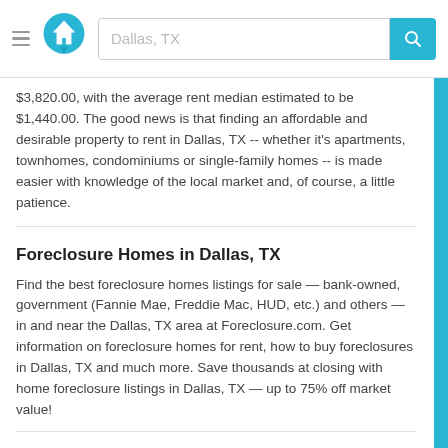[Figure (screenshot): Website header with hamburger menu icon, teal house logo/pin icon, search bar showing 'Dallas, TX', and teal search button with magnifying glass icon]
$3,820.00, with the average rent median estimated to be $1,440.00. The good news is that finding an affordable and desirable property to rent in Dallas, TX -- whether it's apartments, townhomes, condominiums or single-family homes -- is made easier with knowledge of the local market and, of course, a little patience.
Foreclosure Homes in Dallas, TX
Find the best foreclosure homes listings for sale — bank-owned, government (Fannie Mae, Freddie Mac, HUD, etc.) and others — in and near the Dallas, TX area at Foreclosure.com. Get information on foreclosure homes for rent, how to buy foreclosures in Dallas, TX and much more. Save thousands at closing with home foreclosure listings in Dallas, TX — up to 75% off market value!